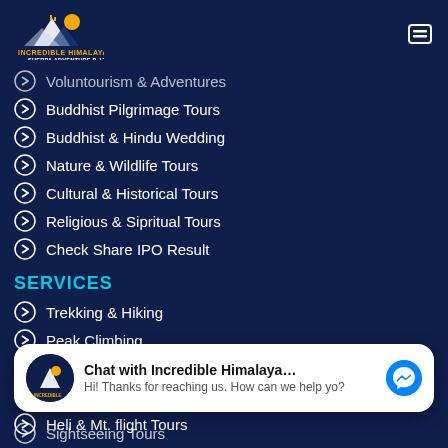Incredible Himalayan Sherpa Adventure P. Ltd.
Voluntourism & Adventures
Buddhist Pilgrimage Tours
Buddhist & Hindu Wedding
Nature & Wildlife Tours
Cultural & Historical Tours
Religious & Sipritual Tours
Check Share IPO Result
SERVICES
Trekking & Hiking
Peak Climbing
Mountain Expidition
Rock Climbing
Heli & Mt. flight Tours
[Figure (other): Facebook Messenger chat widget with logo, text 'Chat with Incredible Himalayan Sh...' and subtitle 'Hi! Thanks for reaching us. How can we help yo?']
Sightseeing Tours